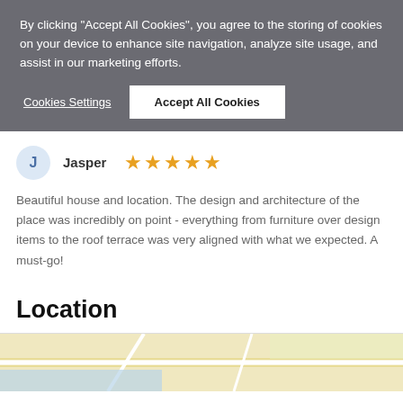By clicking "Accept All Cookies", you agree to the storing of cookies on your device to enhance site navigation, analyze site usage, and assist in our marketing efforts.
Cookies Settings
Accept All Cookies
Jasper ★★★★★
Beautiful house and location. The design and architecture of the place was incredibly on point - everything from furniture over design items to the roof terrace was very aligned with what we expected. A must-go!
Location
[Figure (map): Partial map view shown at the bottom of the page]